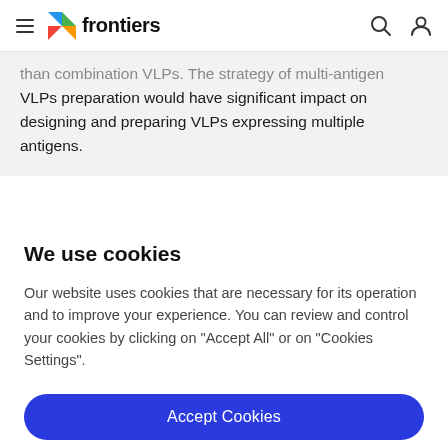frontiers
than combination VLPs. The strategy of multi-antigen VLPs preparation would have significant impact on designing and preparing VLPs expressing multiple antigens.
We use cookies
Our website uses cookies that are necessary for its operation and to improve your experience. You can review and control your cookies by clicking on "Accept All" or on "Cookies Settings".
Accept Cookies
Cookies Settings